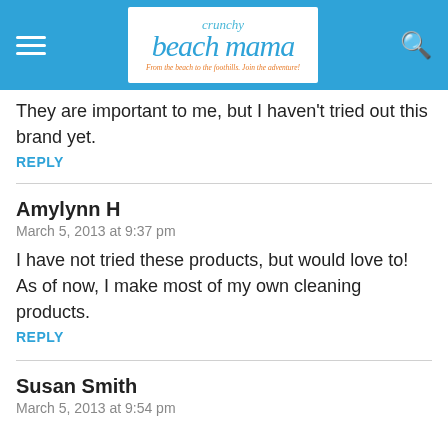Crunchy Beach Mama — navigation bar
They are important to me, but I haven't tried out this brand yet.
REPLY
Amylynn H
March 5, 2013 at 9:37 pm
I have not tried these products, but would love to! As of now, I make most of my own cleaning products.
REPLY
Susan Smith
March 5, 2013 at 9:54 pm